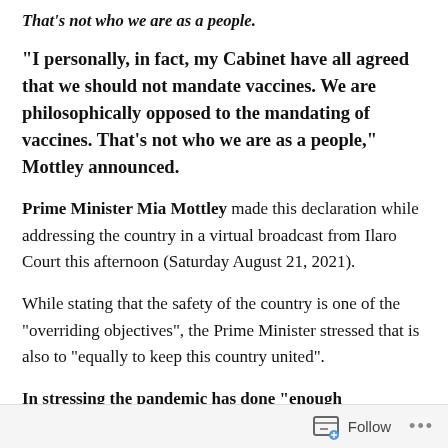That's not who we are as a people.
“I personally, in fact, my Cabinet have all agreed that we should not mandate vaccines. We are philosophically opposed to the mandating of vaccines. That’s not who we are as a people,” Mottley announced.
Prime Minister Mia Mottley made this declaration while addressing the country in a virtual broadcast from Ilaro Court this afternoon (Saturday August 21, 2021).
While stating that the safety of the country is one of the “overriding objectives”, the Prime Minister stressed that is also to “equally to keep this country united”.
In stressing the pandemic has done “enough
Follow ...